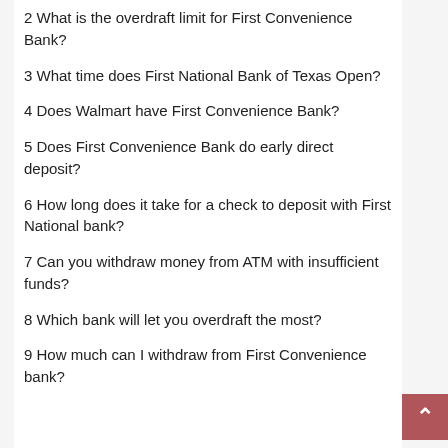2 What is the overdraft limit for First Convenience Bank?
3 What time does First National Bank of Texas Open?
4 Does Walmart have First Convenience Bank?
5 Does First Convenience Bank do early direct deposit?
6 How long does it take for a check to deposit with First National bank?
7 Can you withdraw money from ATM with insufficient funds?
8 Which bank will let you overdraft the most?
9 How much can I withdraw from First Convenience bank?